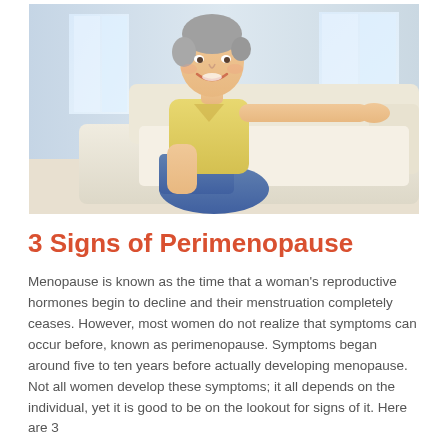[Figure (photo): A middle-aged woman with short gray hair, wearing a yellow t-shirt and jeans, sitting relaxed on a cream-colored sofa, smiling. Bright indoor background with windows.]
3 Signs of Perimenopause
Menopause is known as the time that a woman's reproductive hormones begin to decline and their menstruation completely ceases. However, most women do not realize that symptoms can occur before, known as perimenopause. Symptoms began around five to ten years before actually developing menopause. Not all women develop these symptoms; it all depends on the individual, yet it is good to be on the lookout for signs of it. Here are 3